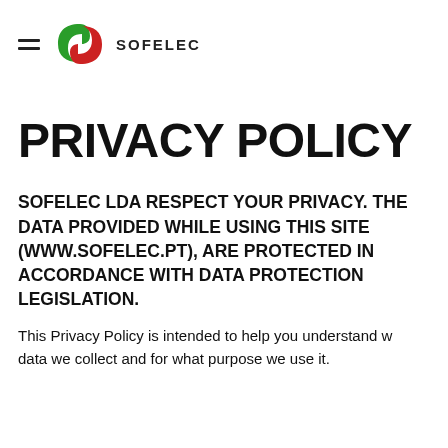SOFELEC
PRIVACY POLICY
SOFELEC LDA RESPECT YOUR PRIVACY. THE DATA PROVIDED WHILE USING THIS SITE (WWW.SOFELEC.PT), ARE PROTECTED IN ACCORDANCE WITH DATA PROTECTION LEGISLATION.
This Privacy Policy is intended to help you understand what data we collect and for what purpose we use it.